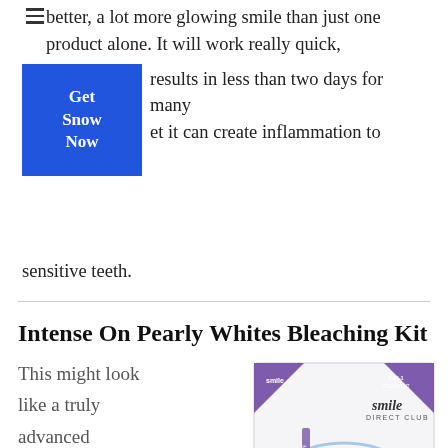better, a lot more glowing smile than just one product alone. It will work really quick,
[Figure (other): Blue button with white bold text reading 'Get Snow Now']
results in less than two days for many et it can create inflammation to sensitive teeth.
Intense On Pearly Whites Bleaching Kit
[Figure (photo): Smile Direct Club teeth whitening kit box with dental tray visible]
This might look like a truly advanced contraption, yet